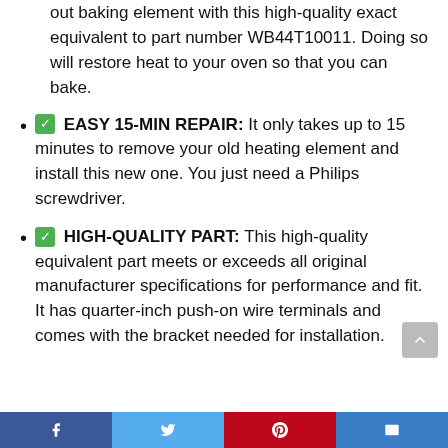out baking element with this high-quality exact equivalent to part number WB44T10011. Doing so will restore heat to your oven so that you can bake.
✅ EASY 15-MIN REPAIR: It only takes up to 15 minutes to remove your old heating element and install this new one. You just need a Philips screwdriver.
✅ HIGH-QUALITY PART: This high-quality equivalent part meets or exceeds all original manufacturer specifications for performance and fit. It has quarter-inch push-on wire terminals and comes with the bracket needed for installation.
Social share bar